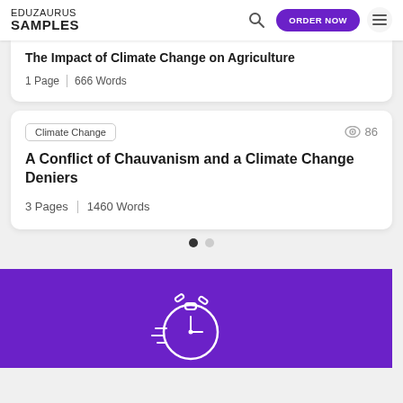EDUZAURUS SAMPLES | ORDER NOW
The Impact of Climate Change on Agriculture
1 Page | 666 Words
Climate Change | 86 views
A Conflict of Chauvanism and a Climate Change Deniers
3 Pages | 1460 Words
[Figure (illustration): Stopwatch/clock icon in white on purple background]